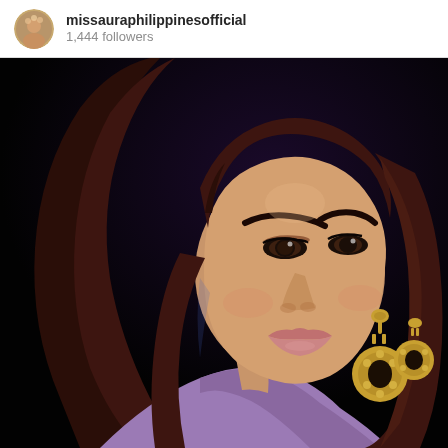missauraphilippinesofficial
1,444 followers
[Figure (photo): Portrait photo of a young Filipino woman with long dark reddish-brown wavy hair, wearing glamorous gold chandelier earrings, with dramatic makeup including defined brows and smoky eyes, set against a dark black background. The photo appears to be a professional beauty/pageant portrait.]